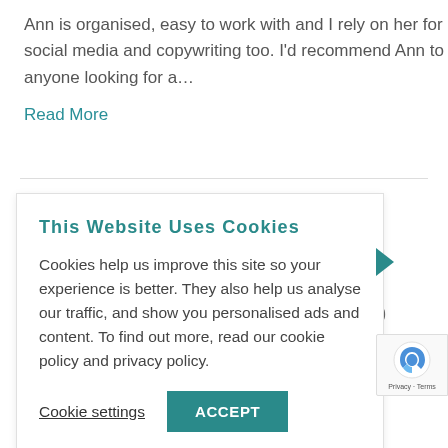Ann is organised, easy to work with and I rely on her for social media and copywriting too. I'd recommend Ann to anyone looking for a…
Read More
This Website Uses Cookies
Cookies help us improve this site so your experience is better. They also help us analyse our traffic, and show you personalised ads and content. To find out more, read our cookie policy and privacy policy.
Cookie settings   ACCEPT
2020
Privacy · Terms